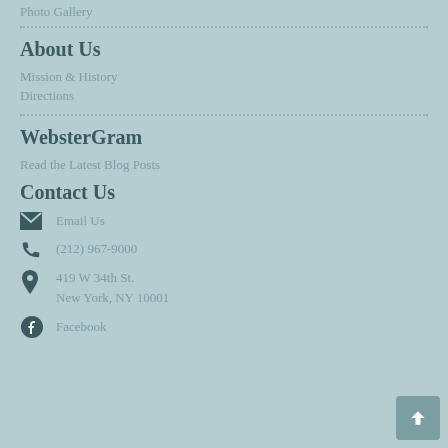Photo Gallery
About Us
Mission & History
Directions
WebsterGram
Read the Latest Blog Posts
Contact Us
Email Us
(212) 967-9000
419 W 34th St.
New York, NY 10001
Facebook